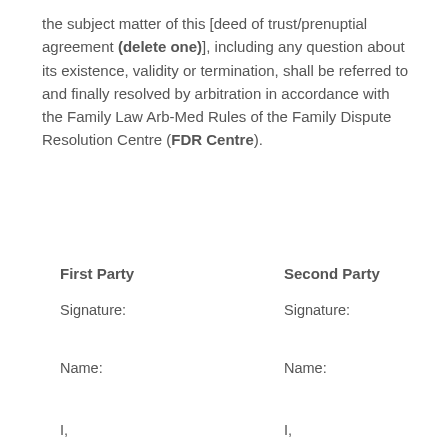the subject matter of this [deed of trust/prenuptial agreement (delete one)], including any question about its existence, validity or termination, shall be referred to and finally resolved by arbitration in accordance with the Family Law Arb-Med Rules of the Family Dispute Resolution Centre (FDR Centre).
First Party
Second Party
Signature:
Signature:
Name:
Name:
I,
I,